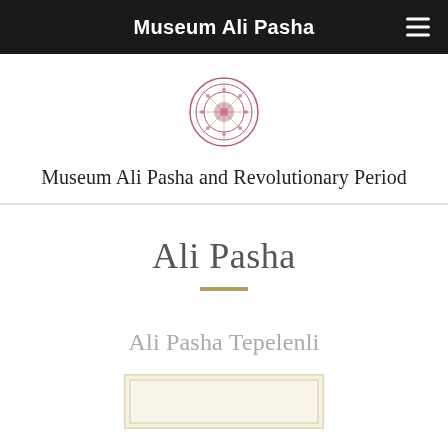Museum Ali Pasha
Museum Ali Pasha and Revolutionary Period
Ali Pasha
Ali Pasha Tepelenli
[Figure (illustration): Partial view of a portrait in a cream/ivory frame, partially visible at the bottom of the page]